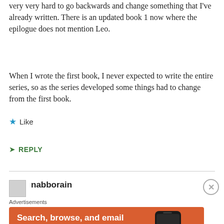very very hard to go backwards and change something that I've already written. There is an updated book 1 now where the epilogue does not mention Leo.
When I wrote the first book, I never expected to write the entire series, so as the series developed some things had to change from the first book.
Like
REPLY
nabborain
Advertisements
[Figure (infographic): DuckDuckGo advertisement: orange background with phone mockup showing DuckDuckGo logo. Text reads 'Search, browse, and email with more privacy. All in One Free App']